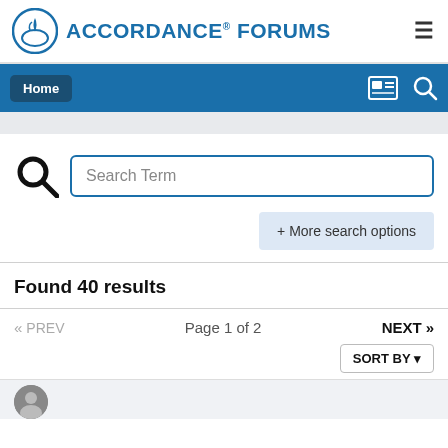ACCORDANCE FORUMS
[Figure (logo): Accordance Forums logo — circular blue torch/flame icon with text ACCORDANCE FORUMS]
Home
Search Term
+ More search options
Found 40 results
« PREV  Page 1 of 2  NEXT »
SORT BY▾